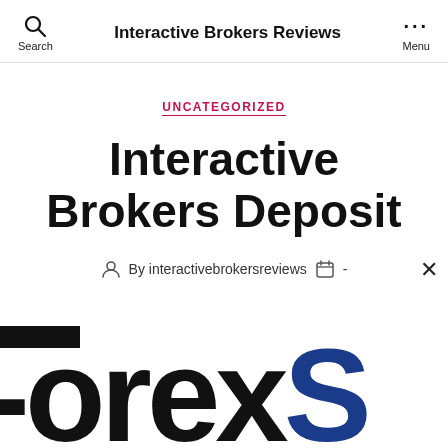Interactive Brokers Reviews
UNCATEGORIZED
Interactive Brokers Deposit
By interactivebrokersreviews  -
[Figure (logo): Partial ForexS logo image visible at the bottom of the page, showing the word 'ForexS' in large bold black and dark blue letters with a black horizontal bar at top left]